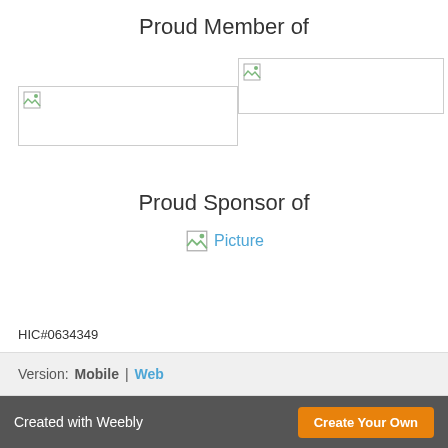Proud Member of
[Figure (photo): Broken image placeholder (left), member logo]
[Figure (photo): Broken image placeholder (right), member logo]
Proud Sponsor of
[Figure (photo): Broken image placeholder with alt text 'Picture', sponsor logo]
HIC#0634349
Version: Mobile | Web
Created with Weebly  Create Your Own